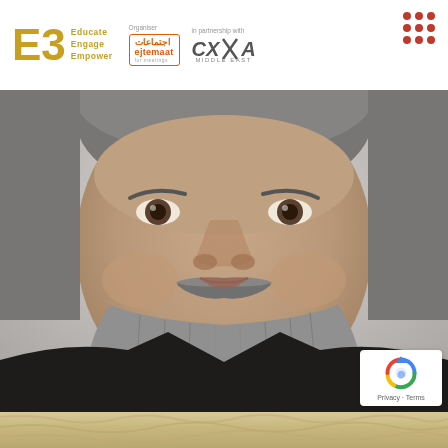[Figure (logo): E3 logo with gold E3 letters and text: Educate, Engage, Empower. Ejtemaat organizer logo (Arabic and English). CXSA Middle East partner logo. Red dot grid (3x3) in top right corner.]
[Figure (photo): Close-up portrait of middle-aged man with salt-and-pepper beard and mustache, wearing dark suit with white shirt, looking directly at camera against neutral gray background.]
[Figure (other): reCAPTCHA badge showing Google reCAPTCHA icon with text 'Privacy - Terms']
[Figure (photo): Bottom strip showing the top of a person's blonde/light hair, partially visible at bottom edge of page.]